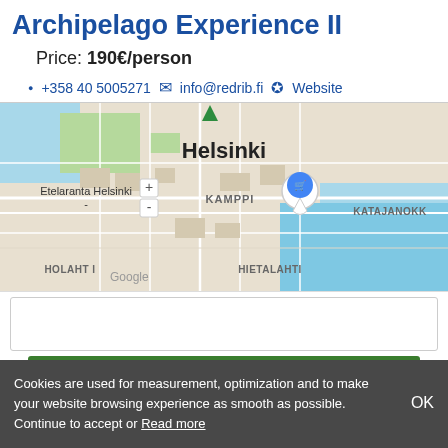Archipelago Experience II
Price: 190€/person
+358 40 5005271   info@redrib.fi   Website
[Figure (map): Google Maps showing Helsinki city center with a location pin, showing areas Helsinki, Kamppi, Katajanokka, Hietalahti, and a label 'Etelaranta Helsinki -']
Cookies are used for measurement, optimization and to make your website browsing experience as smooth as possible. Continue to accept or Read more
OK